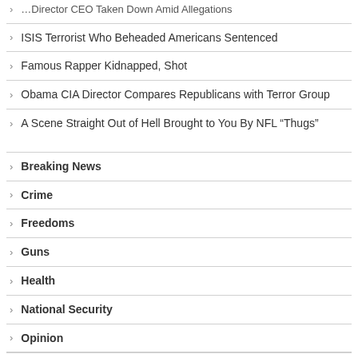› [partial] ...Director CEO Taken Down Amid Allegations
› ISIS Terrorist Who Beheaded Americans Sentenced
› Famous Rapper Kidnapped, Shot
› Obama CIA Director Compares Republicans with Terror Group
› A Scene Straight Out of Hell Brought to You By NFL “Thugs”
› Breaking News
› Crime
› Freedoms
› Guns
› Health
› National Security
› Opinion
› People